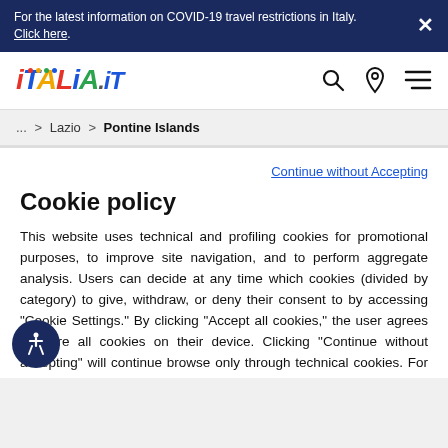For the latest information on COVID-19 travel restrictions in Italy. Click here.
[Figure (logo): Italia.it logo with colorful letters and dots]
... > Lazio > Pontine Islands
Continue without Accepting
Cookie policy
This website uses technical and profiling cookies for promotional purposes, to improve site navigation, and to perform aggregate analysis. Users can decide at any time which cookies (divided by category) to give, withdraw, or deny their consent to by accessing "Cookie Settings." By clicking "Accept all cookies," the user agrees to store all cookies on their device. Clicking "Continue without accepting" will continue browse only through technical cookies. For further information on cookies see our cookie policy